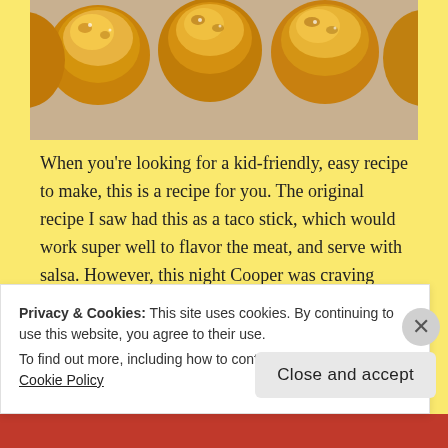[Figure (photo): Close-up photo of golden-brown baked bread rolls or pizza sticks on parchment paper, viewed from above]
When you're looking for a kid-friendly, easy recipe to make, this is a recipe for you. The original recipe I saw had this as a taco stick, which would work super well to flavor the meat, and serve with salsa. However, this night Cooper was craving pizza, so we changed it up. I think the stick-shaped pizza
Privacy & Cookies: This site uses cookies. By continuing to use this website, you agree to their use.
To find out more, including how to control cookies, see here: Cookie Policy
Close and accept